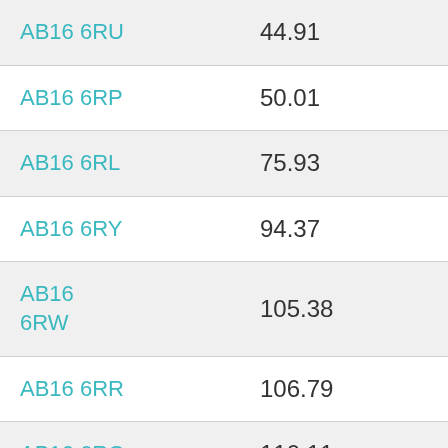| Postcode | Value |
| --- | --- |
| AB16 6RU | 44.91 |
| AB16 6RP | 50.01 |
| AB16 6RL | 75.93 |
| AB16 6RY | 94.37 |
| AB16 6RW | 105.38 |
| AB16 6RR | 106.79 |
| AB16 6RQ | 110.11 |
| AB16 6TX | 117.59 |